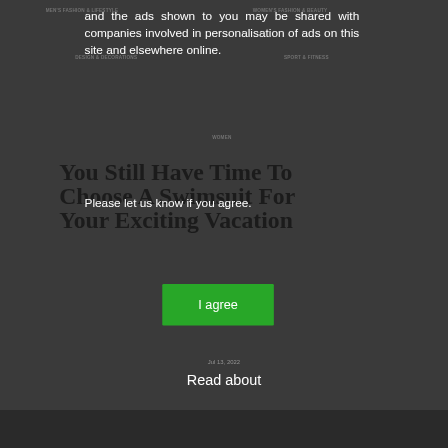MEN'S FASHION & LIFESTYLE   WOMEN'S FASHION & BEAUTY
DESIGN & DECORATIONS   SPORT & FITNESS
WOMEN
and the ads shown to you may be shared with companies involved in personalisation of ads on this site and elsewhere online.
You Still Have Time To Choose A Swimsuit For Your Exciting Vacation
Please let us know if you agree.
[Figure (screenshot): Green 'I agree' button for cookie/ad consent]
Jul 13, 2022
Read about